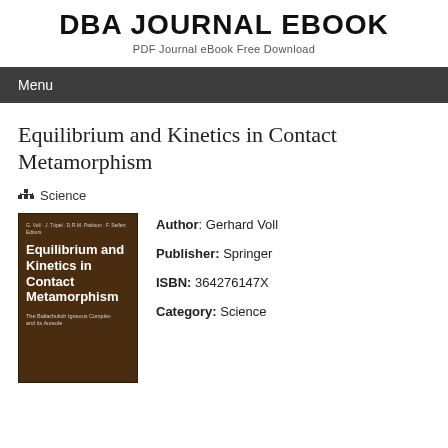DBA JOURNAL EBOOK
PDF Journal eBook Free Download
Menu
Equilibrium and Kinetics in Contact Metamorphism
Science
[Figure (illustration): Book cover of 'Equilibrium and Kinetics in Contact Metamorphism' with dark brown background and bold white title text]
Author: Gerhard Voll
Publisher: Springer
ISBN: 364276147X
Category: Science